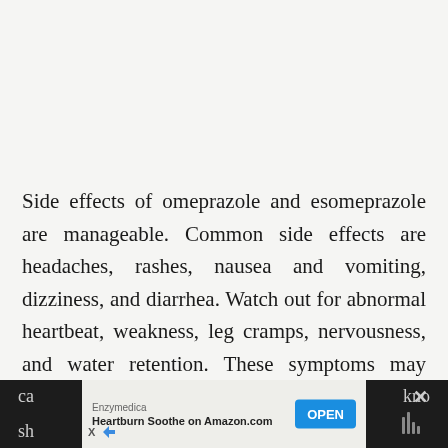Side effects of omeprazole and esomeprazole are manageable. Common side effects are headaches, rashes, nausea and vomiting, dizziness, and diarrhea. Watch out for abnormal heartbeat, weakness, leg cramps, nervousness, and water retention. These symptoms may happen. When these occur, inform the health care providers. Long term use of omeprazole and esomeprazole may ca... [continues] ...ano sh...
[Figure (other): Advertisement banner at the bottom of the page: Enzymedica Heartburn Soothe on Amazon.com with an OPEN button, overlaid on a dark background with partial text visible.]